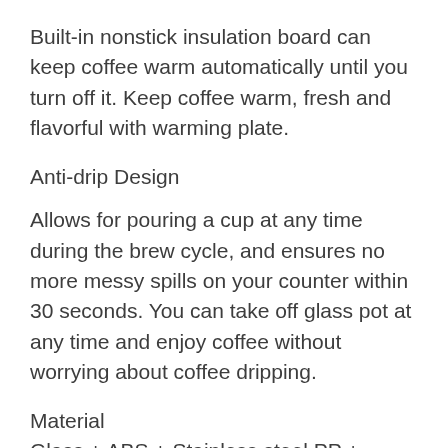Built-in nonstick insulation board can keep coffee warm automatically until you turn off it. Keep coffee warm, fresh and flavorful with warming plate.
Anti-drip Design
Allows for pouring a cup at any time during the brew cycle, and ensures no more messy spills on your counter within 30 seconds. You can take off glass pot at any time and enjoy coffee without worrying about coffee dripping.
Material
Glass + ABS + Stainless steel PP + Stainless steel ABS + Stainless steel